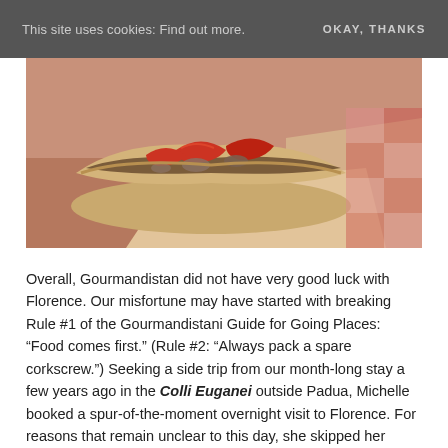This site uses cookies: Find out more.   OKAY, THANKS
[Figure (photo): Close-up photograph of a sandwich with meat, roasted red peppers, and mushrooms on a roll, wrapped in parchment paper, with warm vintage tone coloring.]
Overall, Gourmandistan did not have very good luck with Florence. Our misfortune may have started with breaking Rule #1 of the Gourmandistani Guide for Going Places: “Food comes first.” (Rule #2: “Always pack a spare corkscrew.”) Seeking a side trip from our month-long stay a few years ago in the Colli Euganei outside Padua, Michelle booked a spur-of-the-moment overnight visit to Florence. For reasons that remain unclear to this day, she skipped her usual intensive research and ignored the conspicuous lack of Michelin-starred restaurants, thinking for once in our lives we’d just wing it. After all, how bad could the birthplace of the Renaissance...